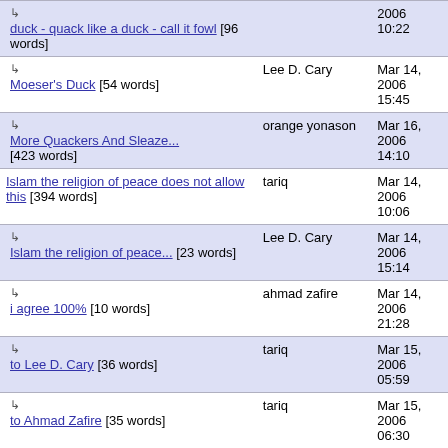| Title | Author | Date |
| --- | --- | --- |
| ↳ duck - quack like a duck - call it fowl [96 words] |  | 2006 10:22 |
| ↳ Moeser's Duck [54 words] | Lee D. Cary | Mar 14, 2006 15:45 |
| ↳ More Quackers And Sleaze... [423 words] | orange yonason | Mar 16, 2006 14:10 |
| Islam the religion of peace does not allow this [394 words] | tariq | Mar 14, 2006 10:06 |
| ↳ Islam the religion of peace... [23 words] | Lee D. Cary | Mar 14, 2006 15:14 |
| ↳ i agree 100% [10 words] | ahmad zafire | Mar 14, 2006 21:28 |
| ↳ to Lee D. Cary [36 words] | tariq | Mar 15, 2006 05:59 |
| ↳ to Ahmad Zafire [35 words] | tariq | Mar 15, 2006 06:30 |
| ↳ To Private Zafire [114 words] | Nabil Shwarma | Mar 15, 2006 07:?? |